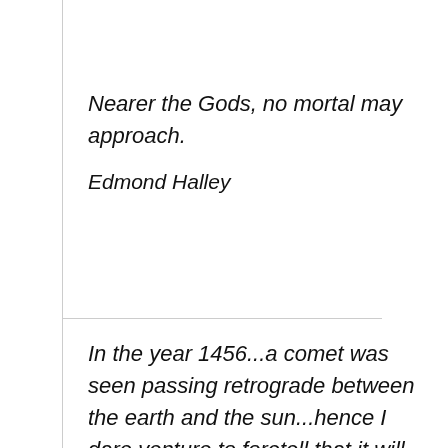Nearer the Gods, no mortal may approach.
Edmond Halley
In the year 1456...a comet was seen passing retrograde between the earth and the sun...hence I dare venture to foretell that it will